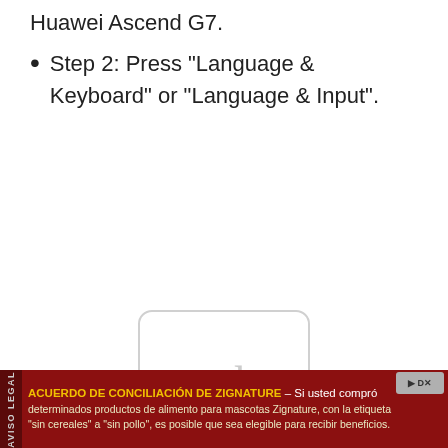Huawei Ascend G7.
Step 2: Press “Language & Keyboard” or “Language & Input”.
[Figure (other): Ad placeholder box with text 'ad' in gray, rounded rectangle border]
[Figure (other): Close button with X symbol, bottom right area]
ACUERDO DE CONCILIACIÓN DE ZIGNATURE – Si usted compró determinados productos de alimento para mascotas Zignature, con la etiqueta “sin cereales” a “sin pollo”, es posible que sea elegible para recibir beneficios.